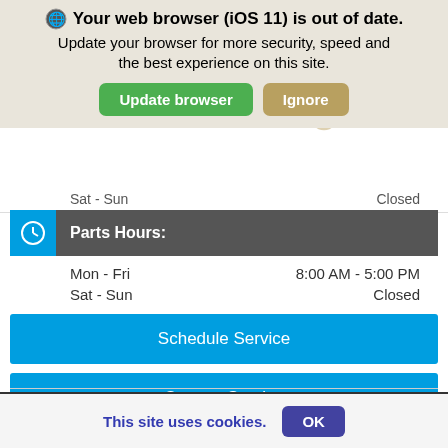[Figure (screenshot): Browser update notification banner with globe icon, bold title 'Your web browser (iOS 11) is out of date.', subtitle text, green 'Update browser' button and tan 'Ignore' button]
Sat - Sun		Closed
Parts Hours:
Mon - Fri	8:00 AM - 5:00 PM
Sat - Sun	Closed
Schedule Service
Contact Service
Service Offers
This site uses cookies.